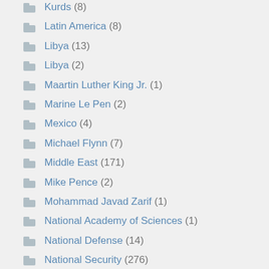Kurds (8)
Latin America (8)
Libya (13)
Libya (2)
Maartin Luther King Jr. (1)
Marine Le Pen (2)
Mexico (4)
Michael Flynn (7)
Middle East (171)
Mike Pence (2)
Mohammad Javad Zarif (1)
National Academy of Sciences (1)
National Defense (14)
National Security (276)